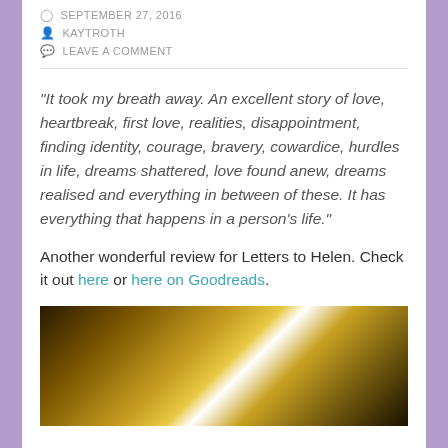SEPTEMBER 27, 2016
KAYTROTH
LEAVE A COMMENT
"It took my breath away. An excellent story of love, heartbreak, first love, realities, disappointment, finding identity, courage, bravery, cowardice, hurdles in life, dreams shattered, love found anew, dreams realised and everything in between of these. It has everything that happens in a person's life."
Another wonderful review for Letters to Helen. Check it out here or here on Goodreads.
[Figure (photo): Bokeh photo of trees with light filtering through, golden/amber tones with bright central light flare]